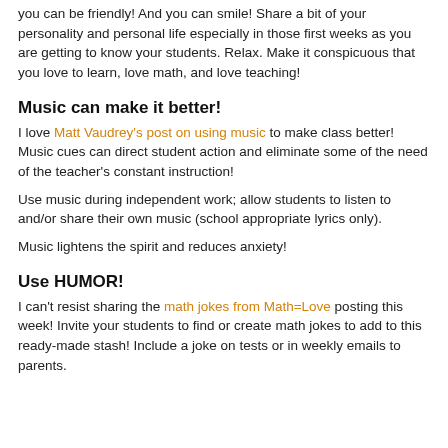you can be friendly!  And you can smile!  Share a bit of your personality and personal life especially in those first weeks as you are getting to know your students.  Relax. Make it conspicuous that you love to learn, love math, and love teaching!
Music can make it better!
I love Matt Vaudrey's post on using music to make class better!  Music cues can direct student action and eliminate some of the need of the teacher's constant instruction!
Use music during independent work; allow students to listen to and/or share their own music (school appropriate lyrics only).
Music lightens the spirit and reduces anxiety!
Use HUMOR!
I can't resist sharing the math jokes from Math=Love posting this week!  Invite your students to find or create math jokes to add to this ready-made stash!  Include a joke on tests or in weekly emails to parents.